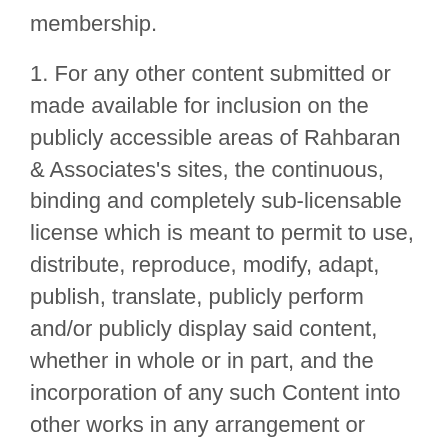membership.
1. For any other content submitted or made available for inclusion on the publicly accessible areas of Rahbaran & Associates's sites, the continuous, binding and completely sub-licensable license which is meant to permit to use, distribute, reproduce, modify, adapt, publish, translate, publicly perform and/or publicly display said content, whether in whole or in part, and the incorporation of any such Content into other works in any arrangement or medium current used or later developed.
Those areas which may be deemed “publicly accessible” areas of Rahbaran & Associates’s sites are those such areas of our network